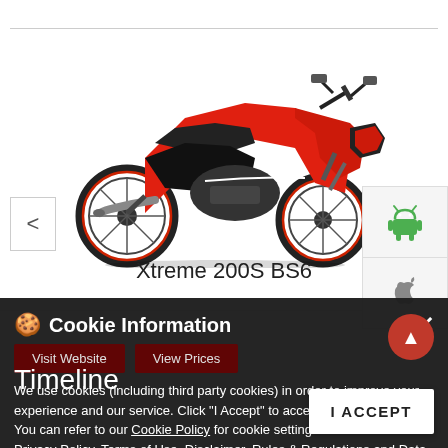[Figure (photo): Red Hero Xtreme 200S BS6 motorcycle on white background, side profile view facing right]
Xtreme 200S BS6
[Figure (screenshot): Cookie Information banner overlay with title, visit website and view prices buttons, cookie policy text with links, and I Accept button]
Timeline